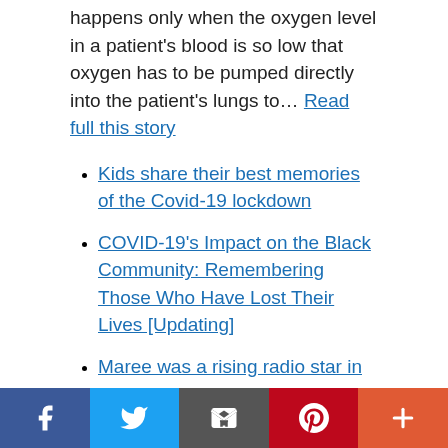happens only when the oxygen level in a patient's blood is so low that oxygen has to be pumped directly into the patient's lungs to… Read full this story
Kids share their best memories of the Covid-19 lockdown
COVID-19's Impact on the Black Community: Remembering Those Who Have Lost Their Lives [Updating]
Maree was a rising radio star in Fiji. Her death from COVID-19 reveals the extent of its outbreak
Lost Opportunity, Lost Inmate Lives To